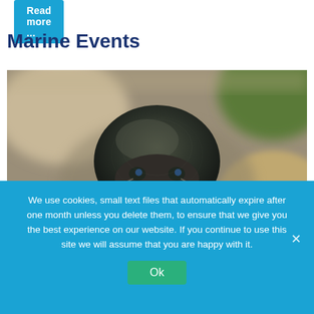Read more ...
Marine Events
[Figure (photo): Close-up macro photograph of a small marine or aquatic beetle/insect viewed from the front, resting among pebbles and rocks. The creature has a dark rounded carapace, visible legs and antennae, photographed against a blurred background of tan and green rocks.]
We use cookies, small text files that automatically expire after one month unless you delete them, to ensure that we give you the best experience on our website. If you continue to use this site we will assume that you are happy with it.